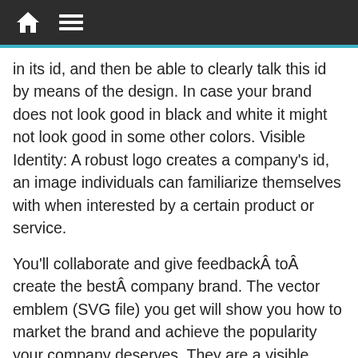[Navigation bar with home icon and menu icon]
in its id, and then be able to clearly talk this id by means of the design. In case your brand does not look good in black and white it might not look good in some other colors. Visible Identity: A robust logo creates a company’s id, an image individuals can familiarize themselves with when interested by a certain product or service.
You’ll collaborate and give feedbackÂ toÂ create the bestÂ company brand. The vector emblem (SVG file) you get will show you how to market the brand and achieve the popularity your company deserves. They are a visible display of what your company is about, they’ll define your model, and help make your CPR coaching business stand out out of your competition.